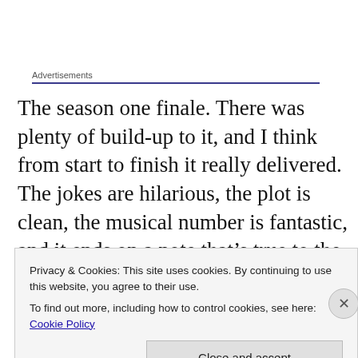Advertisements
The season one finale. There was plenty of build-up to it, and I think from start to finish it really delivered. The jokes are hilarious, the plot is clean, the musical number is fantastic, and it ends on a note that’s true to the show. Friendship saves the day not because it’s a powerful super-laser that can kill the bad guy, but because it’s friendship.
Privacy & Cookies: This site uses cookies. By continuing to use this website, you agree to their use.
To find out more, including how to control cookies, see here: Cookie Policy
Close and accept